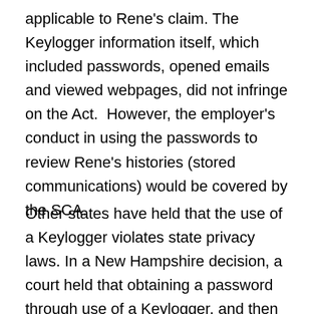applicable to Rene's claim. The Keylogger information itself, which included passwords, opened emails and viewed webpages, did not infringe on the Act.  However, the employer's conduct in using the passwords to review Rene's histories (stored communications) would be covered by the SCA.
Other states have held that the use of a Keylogger violates state privacy laws. In a New Hampshire decision, a court held that obtaining a password through use of a Keylogger, and then using the password to